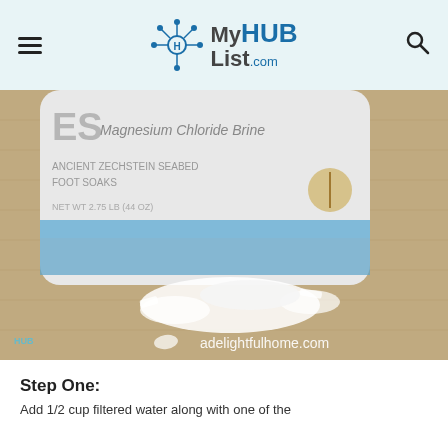MyHUBList.com
[Figure (photo): Close-up photo of a Magnesium Chloride Brine container (labeled 'ES Magnesium Chloride Brine, Ancient Zechstein Seabed, Foot Soaks, Net Wt 2.75 LB (44 OZ)') with white salt flakes spilled in front of it on a burlap surface. Watermark: adelightfulhome.com]
Step One:
Add 1/2 cup filtered water along with one of the...